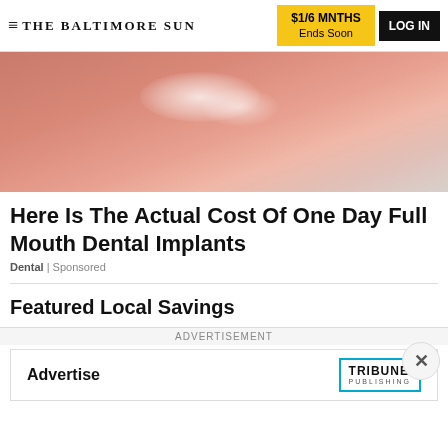THE BALTIMORE SUN | $1/6 MNTHS Ends Soon | LOG IN
[Figure (photo): Close-up photograph of lips with glossy texture, pinkish-red tones with white highlight reflections]
Here Is The Actual Cost Of One Day Full Mouth Dental Implants
Dental | Sponsored
Featured Local Savings
ADVERTISEMENT
Advertise | TRIBUNE PUBLISHING